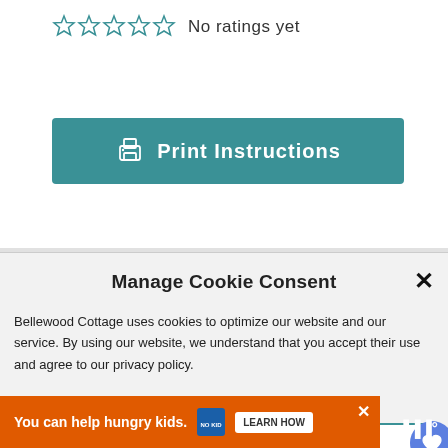[Figure (other): Five empty star rating icons followed by text 'No ratings yet']
[Figure (other): Teal button with printer icon and text 'Print Instructions']
Manage Cookie Consent
Bellewood Cottage uses cookies to optimize our website and our service. By using our website, we understand that you accept their use and agree to our privacy policy.
ACCEPT
Privacy Policy  Privacy Policy
[Figure (photo): Group photo of firefighters in dark uniforms standing in front of fire department equipment]
[Figure (other): Advertisement bar: 'You can help hungry kids. NO KID HUNGRY LEARN HOW']